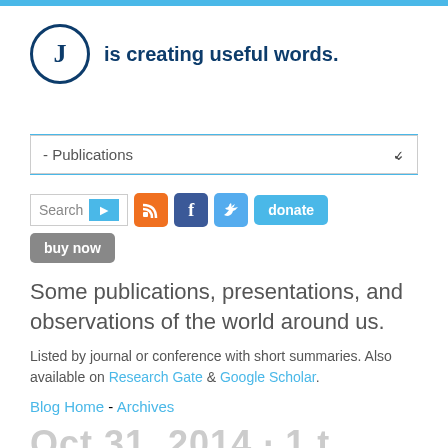[Figure (logo): Circle logo with letter J and tagline 'is creating useful words.']
is creating useful words.
- Publications (dropdown)
Search | RSS | Facebook | Twitter | donate | buy now
Some publications, presentations, and observations of the world around us.
Listed by journal or conference with short summaries. Also available on Research Gate & Google Scholar.
Blog Home - Archives
Oct 31, 2014 · 1 t...